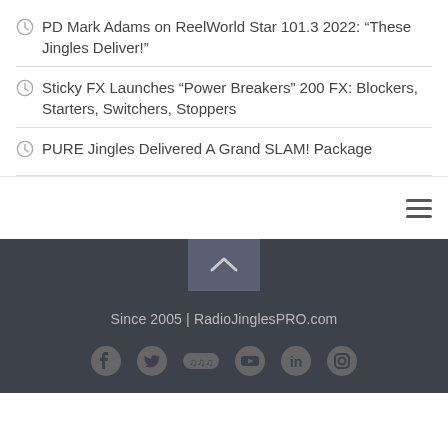PD Mark Adams on ReelWorld Star 101.3 2022: “These Jingles Deliver!”
Sticky FX Launches “Power Breakers” 200 FX: Blockers, Starters, Switchers, Stoppers
PURE Jingles Delivered A Grand SLAM! Package
Since 2005 | RadioJinglesPRO.com